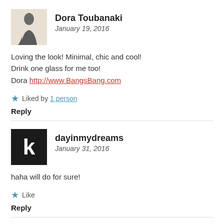Dora Toubanaki
January 19, 2016
Loving the look! Minimal, chic and cool!
Drink one glass for me too!
Dora http://www.BangsBang.com
Liked by 1 person
Reply
dayinmydreams
January 31, 2016
haha will do for sure!
Like
Reply
Joy